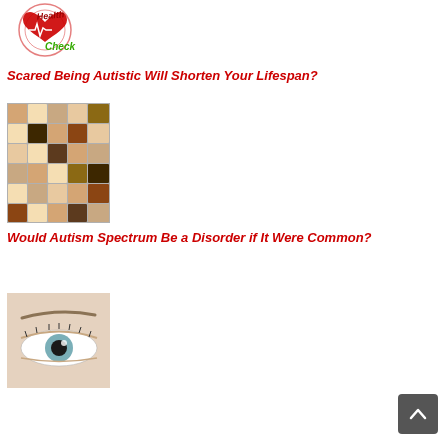[Figure (logo): Health Check logo with red heart and ECG line, green cursive text]
Scared Being Autistic Will Shorten Your Lifespan?
[Figure (photo): Grid collage of diverse people faces]
Would Autism Spectrum Be a Disorder if It Were Common?
[Figure (photo): Close-up of a person's eye]